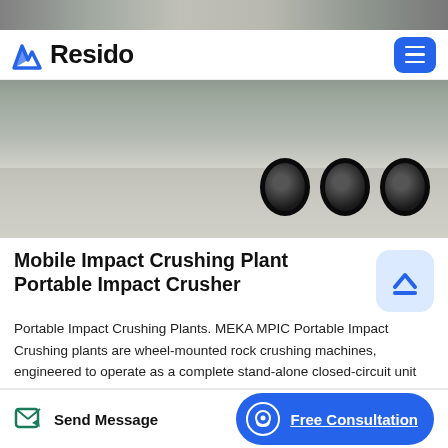[Figure (photo): Top strip showing partial view of heavy construction equipment/trucks, grayscale/muted tones.]
Resido (logo with hamburger menu button)
[Figure (photo): Hero photo of a heavy transport vehicle/crusher truck on a concrete surface, showing large tires on the right side.]
Mobile Impact Crushing Plant Portable Impact Crusher
Portable Impact Crushing Plants. MEKA MPIC Portable Impact Crushing plants are wheel-mounted rock crushing machines, engineered to operate as a complete stand-alone closed-circuit unit with two products capability. rmation.Mobile Jaw and Impact Crushers. Mobile Jaw and Impact crushers is a specific but also the most commonly produced member CONSTMACH Mobile crushing
Send Message    Free Consultation